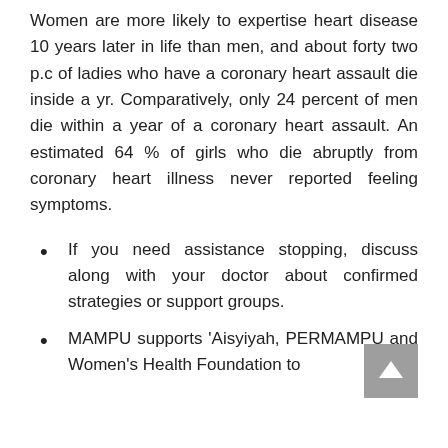Women are more likely to expertise heart disease 10 years later in life than men, and about forty two p.c of ladies who have a coronary heart assault die inside a yr. Comparatively, only 24 percent of men die within a year of a coronary heart assault. An estimated 64 % of girls who die abruptly from coronary heart illness never reported feeling symptoms.
If you need assistance stopping, discuss along with your doctor about confirmed strategies or support groups.
MAMPU supports ‘Aisyiyah, PERMAMPU and Women’s Health Foundation to